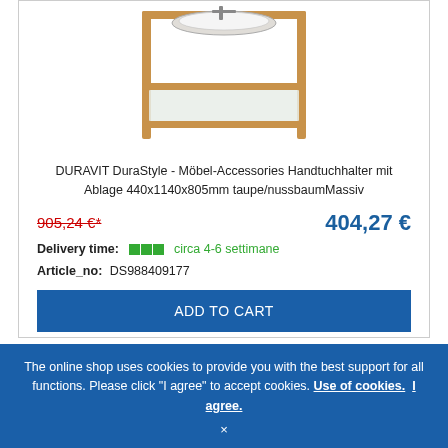[Figure (photo): Product photo of DURAVIT DuraStyle towel holder with shelf, wooden frame structure in taupe/walnut solid wood, with a white basin on top]
DURAVIT DuraStyle - Möbel-Accessories Handtuchhalter mit Ablage 440x1140x805mm taupe/nussbaumMassiv
905,24 €*   404,27 €
Delivery time: circa 4-6 settimane
Article_no: DS988409177
ADD TO CART
The online shop uses cookies to provide you with the best support for all functions. Please click "I agree" to accept cookies. Use of cookies. I agree. ×